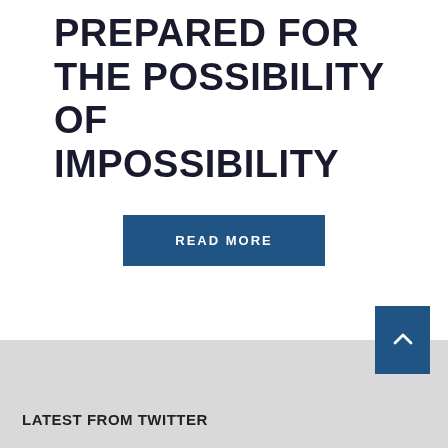PREPARED FOR THE POSSIBILITY OF IMPOSSIBILITY
READ MORE
LATEST FROM TWITTER